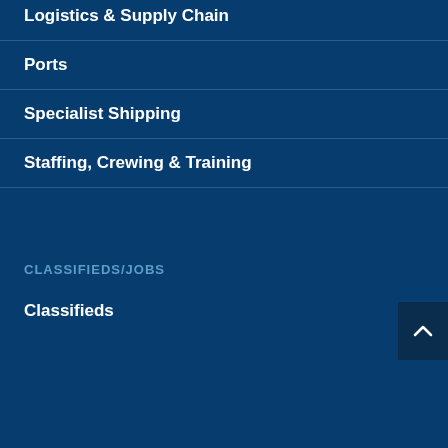Logistics & Supply Chain
Ports
Specialist Shipping
Staffing, Crewing & Training
CLASSIFIEDS/JOBS
Classifieds